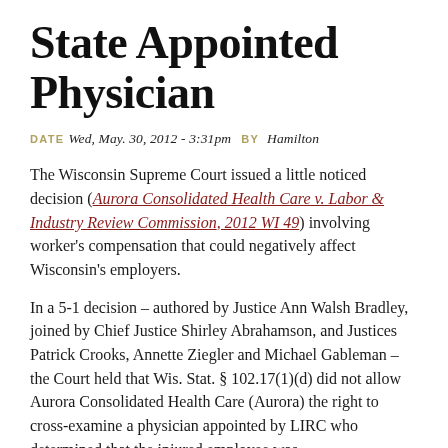State Appointed Physician
DATE  Wed, May. 30, 2012 - 3:31pm    BY  Hamilton
The Wisconsin Supreme Court issued a little noticed decision (Aurora Consolidated Health Care v. Labor & Industry Review Commission, 2012 WI 49) involving worker's compensation that could negatively affect Wisconsin's employers.
In a 5-1 decision – authored by Justice Ann Walsh Bradley, joined by Chief Justice Shirley Abrahamson, and Justices Patrick Crooks, Annette Ziegler and Michael Gableman – the Court held that Wis. Stat. § 102.17(1)(d) did not allow Aurora Consolidated Health Care (Aurora) the right to cross-examine a physician appointed by LIRC who determined that the injured employee was